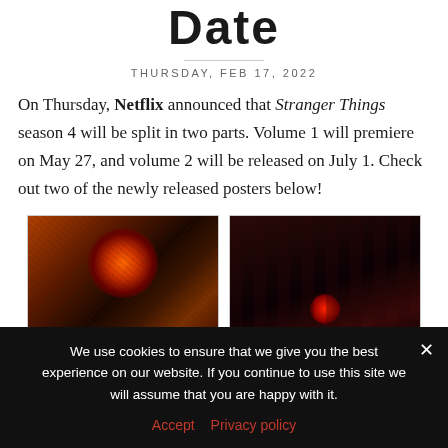Date
THURSDAY, FEB 17, 2022
On Thursday, Netflix announced that Stranger Things season 4 will be split in two parts. Volume 1 will premiere on May 27, and volume 2 will be released on July 1. Check out two of the newly released posters below!
[Figure (photo): Two Stranger Things season 4 promotional poster images side by side. Left poster shows a dark orange/red sci-fi scene with an explosion or portal. Right poster shows a dark red-lit interior corridor scene.]
We use cookies to ensure that we give you the best experience on our website. If you continue to use this site we will assume that you are happy with it.
Accept  Privacy policy